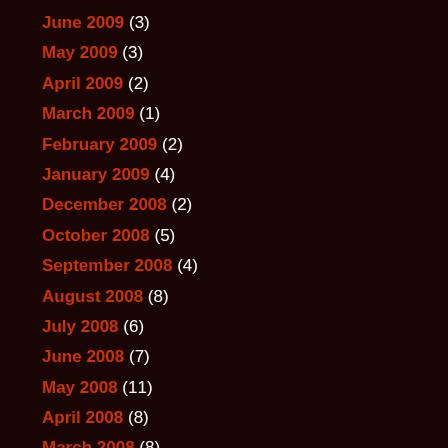June 2009 (3)
May 2009 (3)
April 2009 (2)
March 2009 (1)
February 2009 (2)
January 2009 (4)
December 2008 (2)
October 2008 (5)
September 2008 (4)
August 2008 (8)
July 2008 (6)
June 2008 (7)
May 2008 (11)
April 2008 (8)
March 2008 (8)